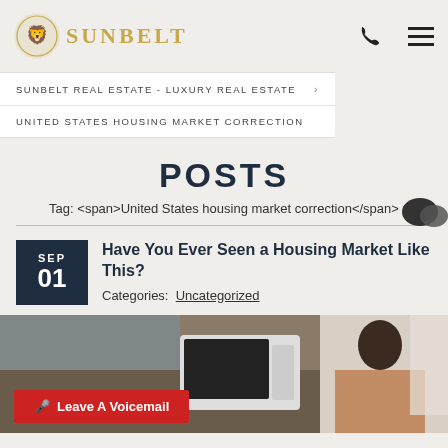SUNBELT
SUNBELT REAL ESTATE - LUXURY REAL ESTATE
UNITED STATES HOUSING MARKET CORRECTION
POSTS
Tag: <span>United States housing market correction</span>
SEP 01
Have You Ever Seen a Housing Market Like This?
Categories: Uncategorized
[Figure (photo): A man in a kitchen setting looking down, with a red voicemail button overlay reading 'Leave A Voicemail']